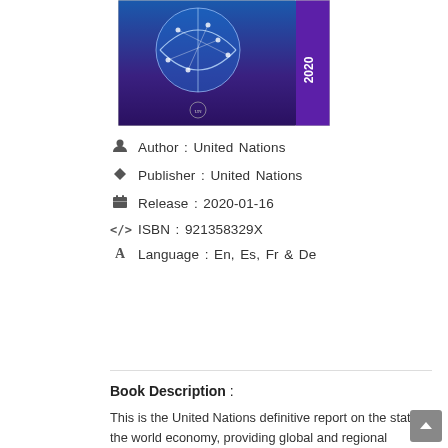[Figure (illustration): Book cover with blue globe/network graphic on dark blue/purple background, year '2020' on spine, United Nations logo at bottom]
Author : United Nations
Publisher : United Nations
Release : 2020-01-16
ISBN : 921358329X
Language : En, Es, Fr & De
DOWNLOAD
Book Description :
This is the United Nations definitive report on the state of the world economy, providing global and regional assessments for 2020 and 2021. Book description the